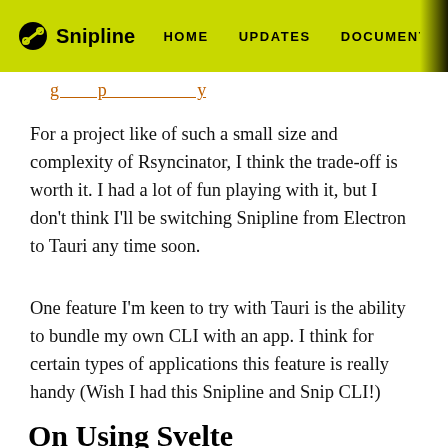Snipline  HOME  UPDATES  DOCUMENTATION  BA...
For a project like of such a small size and complexity of Rsyncinator, I think the trade-off is worth it. I had a lot of fun playing with it, but I don't think I'll be switching Snipline from Electron to Tauri any time soon.
One feature I'm keen to try with Tauri is the ability to bundle my own CLI with an app. I think for certain types of applications this feature is really handy (Wish I had this Snipline and Snip CLI!)
On Using Svelte